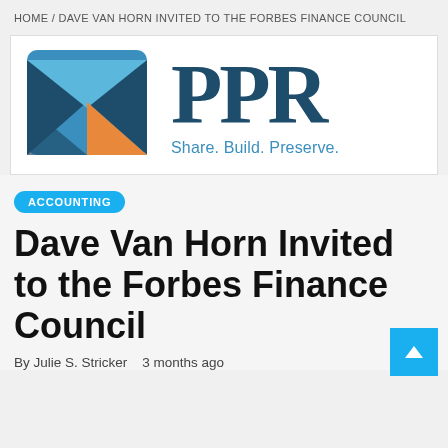HOME / DAVE VAN HORN INVITED TO THE FORBES FINANCE COUNCIL
[Figure (logo): PPR logo with envelope icon (blue and dark teal square with orange triangle accent) and PPR text in dark teal serif font with tagline 'Share. Build. Preserve.' in blue]
ACCOUNTING
Dave Van Horn Invited to the Forbes Finance Council
By Julie S. Stricker  3 months ago